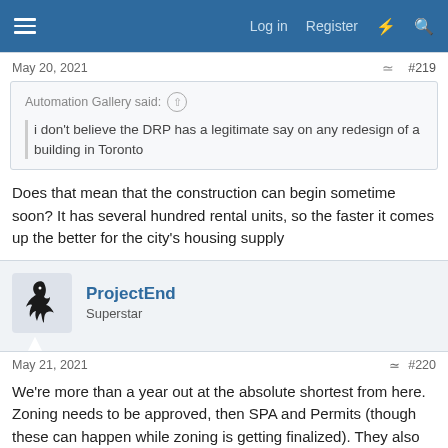Log in  Register
May 20, 2021  #219
Automation Gallery said:
i don't believe the DRP has a legitimate say on any redesign of a building in Toronto
Does that mean that the construction can begin sometime soon? It has several hundred rental units, so the faster it comes up the better for the city's housing supply
ProjectEnd
Superstar
May 21, 2021  #220
We're more than a year out at the absolute shortest from here. Zoning needs to be approved, then SPA and Permits (though these can happen while zoning is getting finalized). They also need to find enough tenants to prelease the 650k office